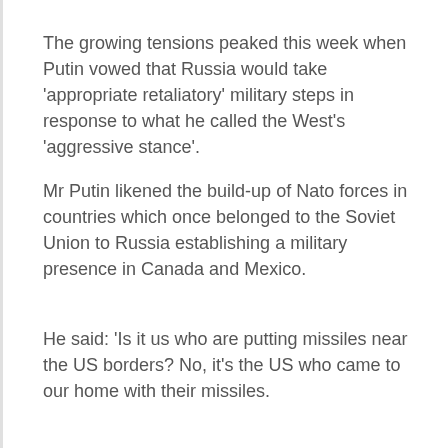The growing tensions peaked this week when Putin vowed that Russia would take 'appropriate retaliatory' military steps in response to what he called the West's 'aggressive stance'.
Mr Putin likened the build-up of Nato forces in countries which once belonged to the Soviet Union to Russia establishing a military presence in Canada and Mexico.
He said: 'Is it us who are putting missiles near the US borders? No, it's the US who came to our home with their missiles.
'Is it some excessive demand not to place any offensive systems near our home?
'We have clearly and precisely let them know that any further Nato expansion eastward is unacceptable. And it